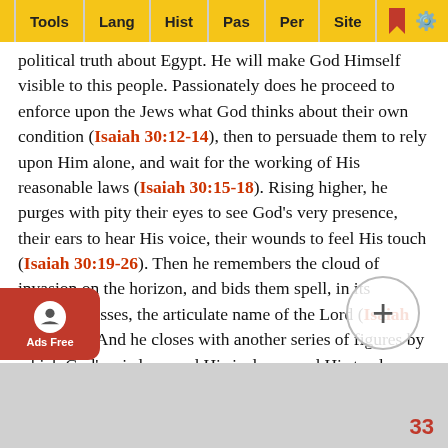Tools | Lang | Hist | Pas | Per | Site
political truth about Egypt. He will make God Himself visible to this people. Passionately does he proceed to enforce upon the Jews what God thinks about their own condition (Isaiah 30:12-14), then to persuade them to rely upon Him alone, and wait for the working of His reasonable laws (Isaiah 30:15-18). Rising higher, he purges with pity their eyes to see God's very presence, their ears to hear His voice, their wounds to feel His touch (Isaiah 30:19-26). Then he remembers the cloud of invasion on the horizon, and bids them spell, in its uncouth masses, the articulate name of the Lord (Isaiah 30:27-33). And he closes with another series of figures by which God's wisdom, and His jealousy and His tenderness are made very bright to them (chapter 31).
These brilliant prophecies may not have been given all at the same time: each is complete in itself. They do not all mention negotiations with Egypt, but they are all dark with the shadow...
33